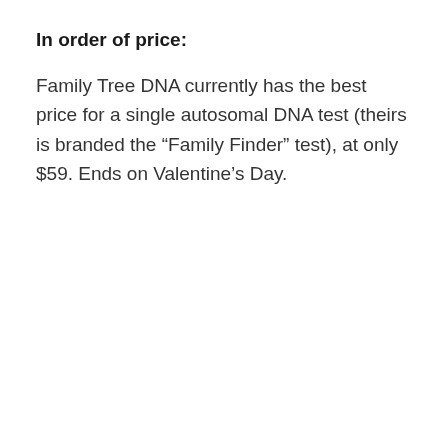In order of price:
Family Tree DNA currently has the best price for a single autosomal DNA test (theirs is branded the “Family Finder” test), at only $59. Ends on Valentine’s Day.